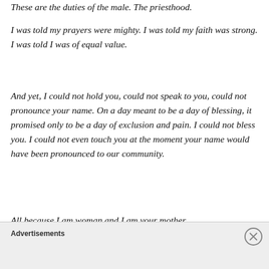These are the duties of the male. The priesthood.
I was told my prayers were mighty. I was told my faith was strong. I was told I was of equal value.
And yet, I could not hold you, could not speak to you, could not pronounce your name. On a day meant to be a day of blessing, it promised only to be a day of exclusion and pain. I could not bless you. I could not even touch you at the moment your name would have been pronounced to our community.
All because I am woman and I am your mother.
Advertisements